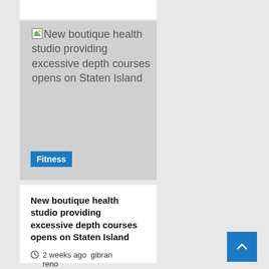[Figure (photo): Placeholder image for article about New boutique health studio providing excessive depth courses opens on Staten Island, with a Fitness badge overlay]
New boutique health studio providing excessive depth courses opens on Staten Island
2 weeks ago  gibran reno